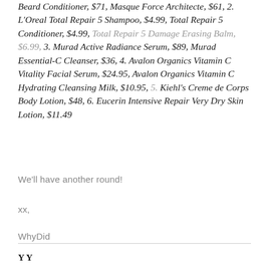Beard Conditioner, $71, Masque Force Architecte, $61, 2. L'Oreal Total Repair 5 Shampoo, $4.99, Total Repair 5 Conditioner, $4.99, Total Repair 5 Damage Erasing Balm, $6.99, 3. Murad Active Radiance Serum, $89, Murad Essential-C Cleanser, $36, 4. Avalon Organics Vitamin C Vitality Facial Serum, $24.95, Avalon Organics Vitamin C Hydrating Cleansing Milk, $10.95, 5. Kiehl's Creme de Corps Body Lotion, $48, 6. Eucerin Intensive Repair Very Dry Skin Lotion, $11.49
We'll have another round!
xx,
WhyDid